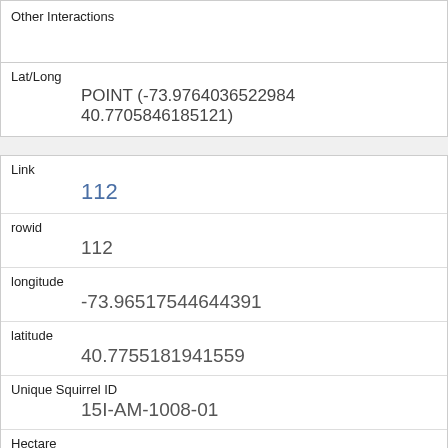| Other Interactions |  |
| Lat/Long | POINT (-73.9764036522984 40.7705846185121) |
| Link | 112 |
| rowid | 112 |
| longitude | -73.96517544644391 |
| latitude | 40.7755181941559 |
| Unique Squirrel ID | 15I-AM-1008-01 |
| Hectare | 15I |
| Shift | AM |
| Date |  |